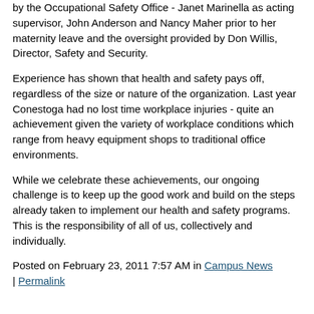by the Occupational Safety Office - Janet Marinella as acting supervisor, John Anderson and Nancy Maher prior to her maternity leave and the oversight provided by Don Willis, Director, Safety and Security.
Experience has shown that health and safety pays off, regardless of the size or nature of the organization. Last year Conestoga had no lost time workplace injuries - quite an achievement given the variety of workplace conditions which range from heavy equipment shops to traditional office environments.
While we celebrate these achievements, our ongoing challenge is to keep up the good work and build on the steps already taken to implement our health and safety programs. This is the responsibility of all of us, collectively and individually.
Posted on February 23, 2011 7:57 AM in Campus News | Permalink